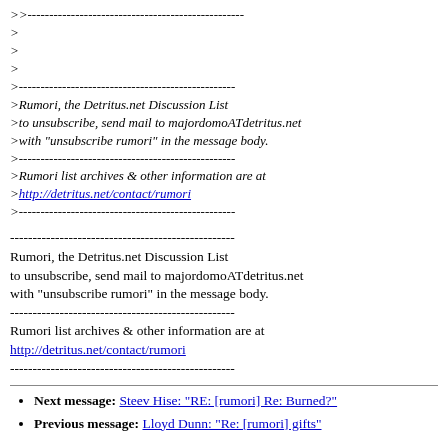>>--------------------------------------------------
>
>
>
>--------------------------------------------------
>Rumori, the Detritus.net Discussion List
>to unsubscribe, send mail to majordomoATdetritus.net
>with "unsubscribe rumori" in the message body.
>--------------------------------------------------
>Rumori list archives & other information are at
>http://detritus.net/contact/rumori
>--------------------------------------------------
--------------------------------------------------
Rumori, the Detritus.net Discussion List
to unsubscribe, send mail to majordomoATdetritus.net
with "unsubscribe rumori" in the message body.
--------------------------------------------------
Rumori list archives & other information are at
http://detritus.net/contact/rumori
--------------------------------------------------
Next message: Steev Hise: "RE: [rumori] Re: Burned?"
Previous message: Lloyd Dunn: "Re: [rumori] gifts"